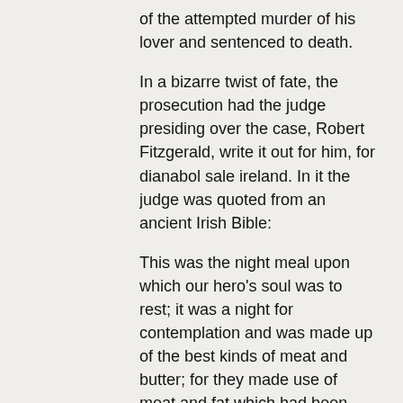of the attempted murder of his lover and sentenced to death.
In a bizarre twist of fate, the prosecution had the judge presiding over the case, Robert Fitzgerald, write it out for him, for dianabol sale ireland. In it the judge was quoted from an ancient Irish Bible:
This was the night meal upon which our hero's soul was to rest; it was a night for contemplation and was made up of the best kinds of meat and butter; for they made use of meat and fat which had been taken from animals slaughtered in a slaughtering-house. The meal had also been prepared of herbs to promote a healthy complexion. It was a food not to be eaten by the hungry as they would have made off with their strength; as they are usually weak and feeble with hunger,